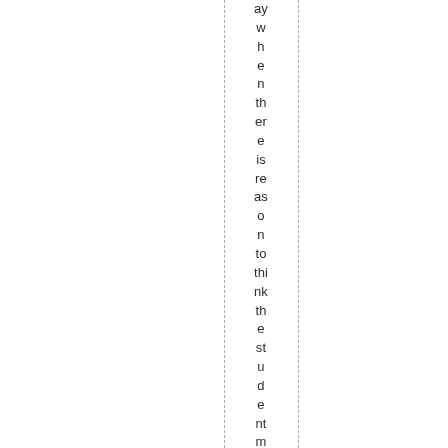ay when there is reason to think the student meant no h